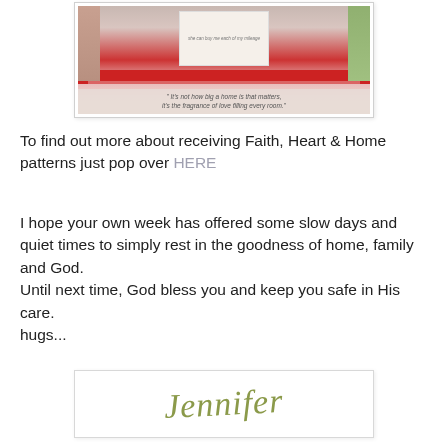[Figure (photo): Photo of a quilt or fabric craft project with floral fabrics in red, pink and green, with a quote band at the bottom reading: It's not how big a home is that matters, it's the fragrance of love filling every room.]
To find out more about receiving Faith, Heart & Home patterns just pop over HERE
I hope your own week has offered some slow days and quiet times to simply rest in the goodness of home, family and God.
Until next time, God bless you and keep you safe in His care.
hugs...
[Figure (illustration): Signature image showing the name 'Jennifer' in cursive olive/green script on a white background with a light border.]